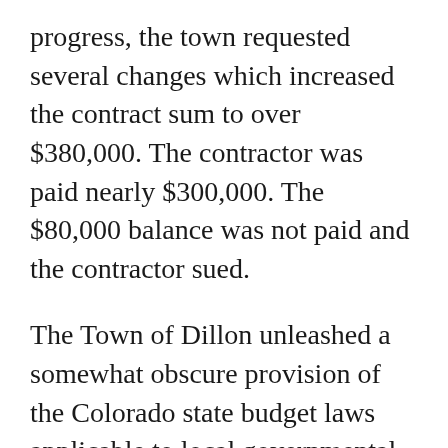progress, the town requested several changes which increased the contract sum to over $380,000. The contractor was paid nearly $300,000. The $80,000 balance was not paid and the contractor sued.
The Town of Dillon unleashed a somewhat obscure provision of the Colorado state budget laws applicable to local governmental entitles. It found a statute which provided that contracts were void to the extent that the